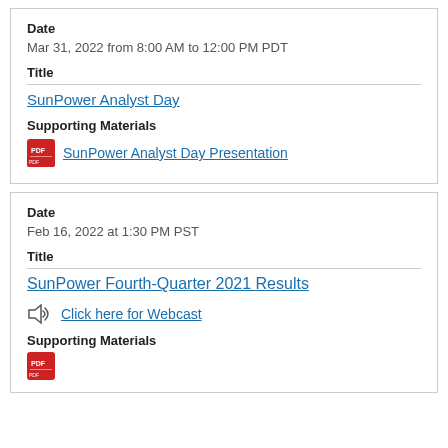Date
Mar 31, 2022 from 8:00 AM to 12:00 PM PDT
Title
SunPower Analyst Day
Supporting Materials
SunPower Analyst Day Presentation
Date
Feb 16, 2022 at 1:30 PM PST
Title
SunPower Fourth-Quarter 2021 Results
Click here for Webcast
Supporting Materials